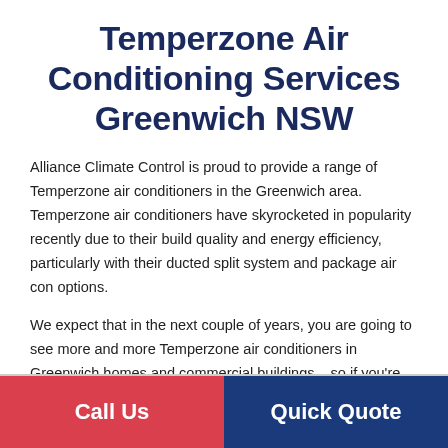Temperzone Air Conditioning Services Greenwich NSW
Alliance Climate Control is proud to provide a range of Temperzone air conditioners in the Greenwich area. Temperzone air conditioners have skyrocketed in popularity recently due to their build quality and energy efficiency, particularly with their ducted split system and package air con options.
We expect that in the next couple of years, you are going to see more and more Temperzone air conditioners in Greenwich homes and commercial buildings – so if you're looking for a powerful and user-friendly air con option, why not consider Temperzone?
Call Us   Quick Quote